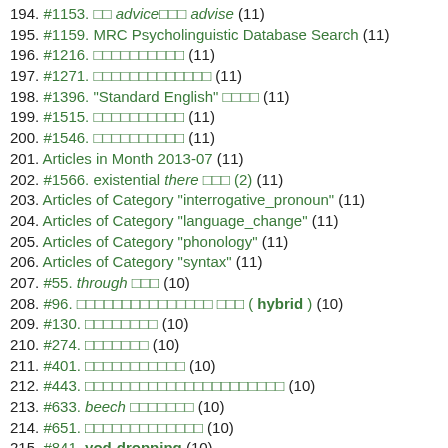194. #1153. □□ advice□□□ advise (11)
195. #1159. MRC Psycholinguistic Database Search (11)
196. #1216. □□□□□□□□□□ (11)
197. #1271. □□□□□□□□□□□□□ (11)
198. #1396. "Standard English" □□□□ (11)
199. #1515. □□□□□□□□□□ (11)
200. #1546. □□□□□□□□□□ (11)
201. Articles in Month 2013-07 (11)
202. #1566. existential there □□□ (2) (11)
203. Articles of Category "interrogative_pronoun" (11)
204. Articles of Category "language_change" (11)
205. Articles of Category "phonology" (11)
206. Articles of Category "syntax" (11)
207. #55. through □□□ (10)
208. #96. □□□□□□□□□□□□□□□ □□□ ( hybrid ) (10)
209. #130. □□□□□□□□ (10)
210. #274. □□□□□□□ (10)
211. #401. □□□□□□□□□□□ (10)
212. #443. □□□□□□□□□□□□□□□□□□□□□□ (10)
213. #633. beech □□□□□□□ (10)
214. #651. □□□□□□□□□□□□□ (10)
215. #841. yod-dropping (10)
216. #854. □□□□□□□□□□ she (3) (10)
217. #1067. □□□□□□□□□□□□□□□□ (10)
218. #1109. □□□□□□□□□ (10)